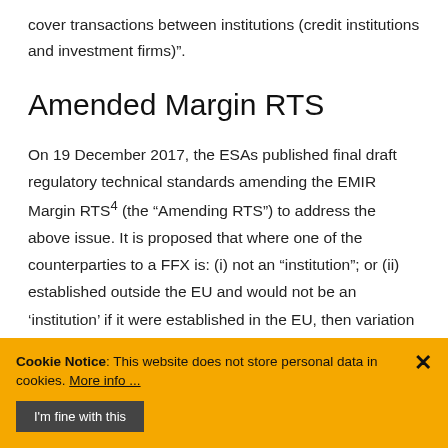cover transactions between institutions (credit institutions and investment firms)".
Amended Margin RTS
On 19 December 2017, the ESAs published final draft regulatory technical standards amending the EMIR Margin RTS[4] (the “Amending RTS”) to address the above issue. It is proposed that where one of the counterparties to a FFX is: (i) not an “institution”; or (ii) established outside the EU and would not be an ‘institution’ if it were established in the EU, then variation margin does not need to be posted or
Cookie Notice: This website does not store personal data in cookies. More info ...
I'm fine with this